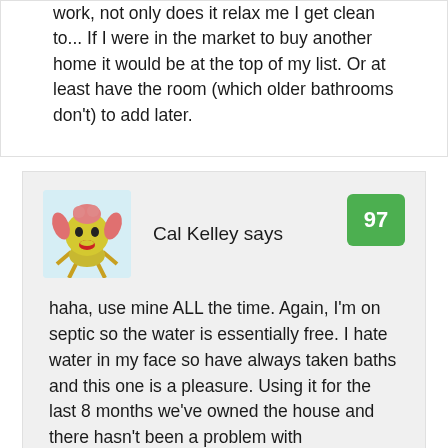work, not only does it relax me I get clean to... If I were in the market to buy another home it would be at the top of my list. Or at least have the room (which older bathrooms don't) to add later.
[Figure (illustration): Avatar illustration of an animated character with a round yellow face, red lips, and pink hair-like features]
Cal Kelley says
97
haha, use mine ALL the time. Again, I'm on septic so the water is essentially free. I hate water in my face so have always taken baths and this one is a pleasure. Using it for the last 8 months we've owned the house and there hasn't been a problem with algea(knock wood) and I use bubble bath